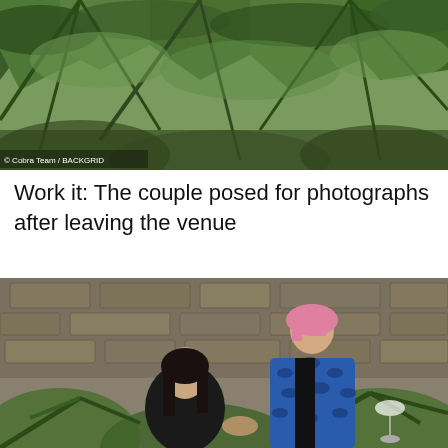[Figure (photo): Top portion of a photo showing palm trees and green foliage with a watermark reading '© Cobra Team / BACKGRID' at the bottom left]
Work it: The couple posed for photographs after leaving the venue
[Figure (photo): Photo of a couple outdoors against a stone wall with tropical plants. A woman with long dark hair wearing a black outfit holds hands with a tall man with pink hair wearing a bold blue leopard-print blazer holding a wine glass.]